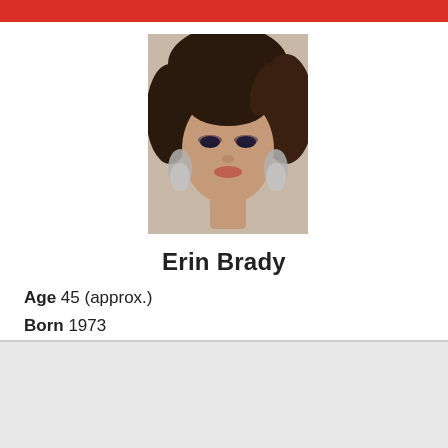[Figure (photo): Portrait photo of Erin Brady, a woman with dark brown hair styled up, wearing large silver drop earrings, against a light background.]
Erin Brady
Age 45 (approx.)
Born 1973